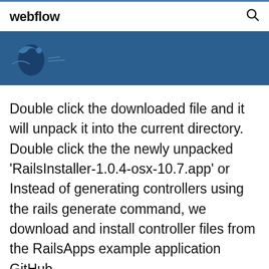webflow
[Figure (screenshot): Blue banner with partial bird/logo image on left side]
Double click the downloaded file and it will unpack it into the current directory. Double click the the newly unpacked 'RailsInstaller-1.0.4-osx-10.7.app' or Instead of generating controllers using the rails generate command, we download and install controller files from the RailsApps example application GitHub